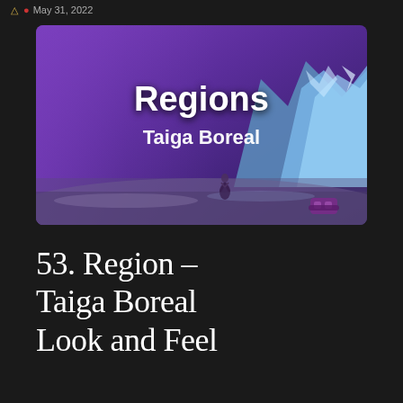May 31, 2022
[Figure (screenshot): Video thumbnail showing a fantasy/sci-fi frozen landscape with purple sky and icy mountains. Text overlay reads 'Regions' in large bold white font and 'Taiga Boreal' below it. A figure stands in the foreground on ice.]
53. Region – Taiga Boreal Look and Feel